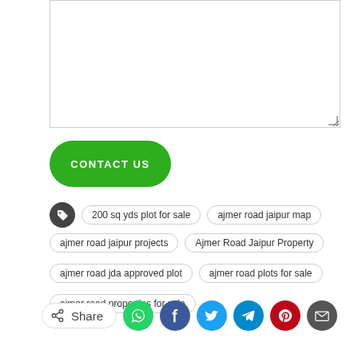[Figure (screenshot): Empty textarea input box with resize handle at bottom-right corner]
CONTACT US
200 sq yds plot for sale
ajmer road jaipur map
ajmer road jaipur projects
Ajmer Road Jaipur Property
ajmer road jda approved plot
ajmer road plots for sale
ajmer road properties for sale
Share